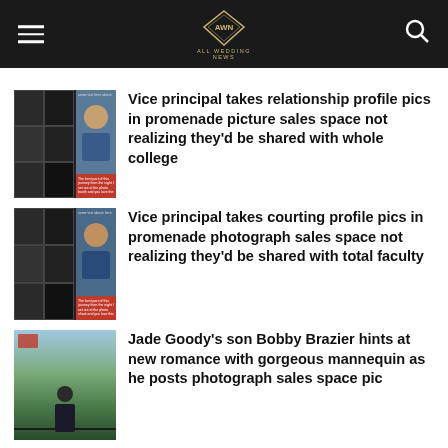All Wedding News - AWN
[Figure (screenshot): Thumbnail image showing photo booth style pictures and a man]
Vice principal takes relationship profile pics in promenade picture sales space not realizing they'd be shared with whole college
[Figure (screenshot): Thumbnail image showing photo booth style pictures and a man in blue shirt]
Vice principal takes courting profile pics in promenade photograph sales space not realizing they'd be shared with total faculty
[Figure (photo): Thumbnail image of a person standing outdoors near a fence]
Jade Goody’s son Bobby Brazier hints at new romance with gorgeous mannequin as he posts photograph sales space pic